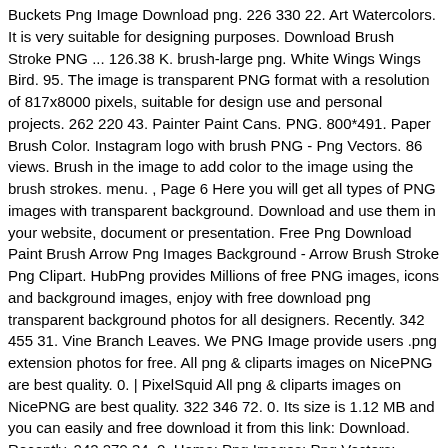Buckets Png Image Download png. 226 330 22. Art Watercolors. It is very suitable for designing purposes. Download Brush Stroke PNG ... 126.38 K. brush-large png. White Wings Wings Bird. 95. The image is transparent PNG format with a resolution of 817x8000 pixels, suitable for design use and personal projects. 262 220 43. Painter Paint Cans. PNG. 800*491. Paper Brush Color. Instagram logo with brush PNG - Png Vectors. 86 views. Brush in the image to add color to the image using the brush strokes. menu. , Page 6 Here you will get all types of PNG images with transparent background. Download and use them in your website, document or presentation. Free Png Download Paint Brush Arrow Png Images Background - Arrow Brush Stroke Png Clipart. HubPng provides Millions of free PNG images, icons and background images, enjoy with free download png transparent background photos for all designers. Recently. 342 455 31. Vine Branch Leaves. We PNG Image provide users .png extension photos for free. All png & cliparts images on NicePNG are best quality. 0. | PixelSquid All png & cliparts images on NicePNG are best quality. 322 346 72. 0. Its size is 1.12 MB and you can easily and free download it from this link: Download. Recently. 242 279 34. 0. Home; Png Images; Png Vectors; Upload Filter. Search and download free HD Brush PNG images with transparent background online from lovepik.com. 248 views. 36 351 4 15 238 1 25 215 2 45 469 5 34 272 7 63 577 17 31 351 5 16 144 1 61 609 18 94 548 6 96 596 9 126 1,267 13 179 1,625 16 0 119 1 70 504 4 77 840 0 45